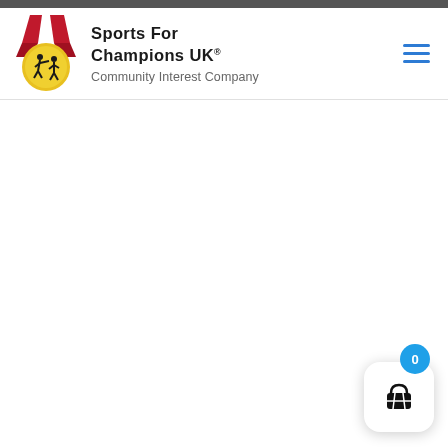[Figure (logo): Sports For Champions UK Community Interest Company logo with medal/ribbon graphic]
Sports For Champions UK® Community Interest Company
[Figure (other): Hamburger menu icon (three horizontal blue lines)]
[Figure (other): Shopping cart widget with blue badge showing 0 items]